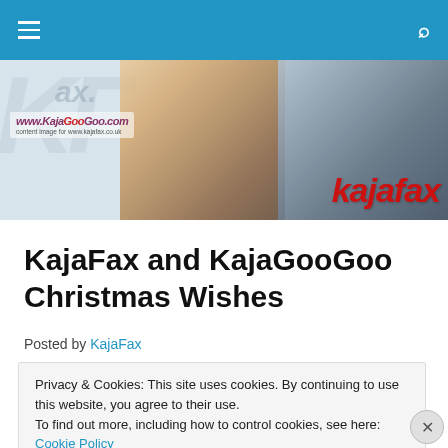Navigation bar with hamburger menu and search icon
[Figure (illustration): KajaFax website banner with KF logo text watermark, two group photos of Kajagoogoo band members (vintage and modern), and 'kajafax' text overlay in red italic]
KajaFax and KajaGooGoo Christmas Wishes
Posted by KajaFax
Privacy & Cookies: This site uses cookies. By continuing to use this website, you agree to their use.
To find out more, including how to control cookies, see here: Cookie Policy
Close and accept